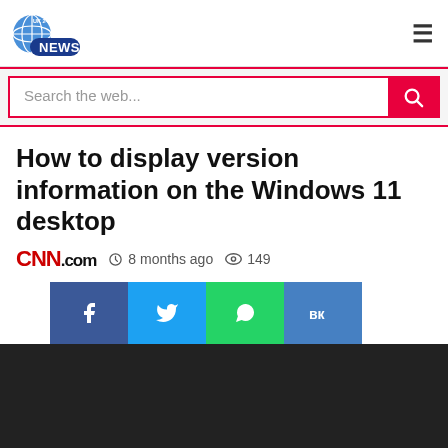UK 24X7 NEWS
Search the web...
How to display version information on the Windows 11 desktop
CNN.com  8 months ago  149
[Figure (other): Social share buttons: Facebook, Twitter, WhatsApp, VK]
[Figure (photo): Dark/black content area below share buttons]